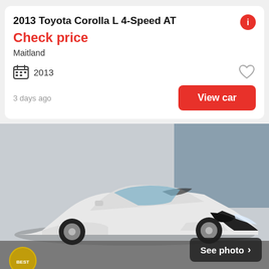2013 Toyota Corolla L 4-Speed AT
Check price
Maitland
2013
3 days ago
View car
[Figure (photo): White 2013 Hyundai Genesis Coupe sports car parked, seen from front-right angle. A gold badge is visible at bottom left. A 'See photo >' button overlay appears at bottom right.]
2013 Hyundai Genesis Coupe 3.8 Grand Touring Auto
Check price